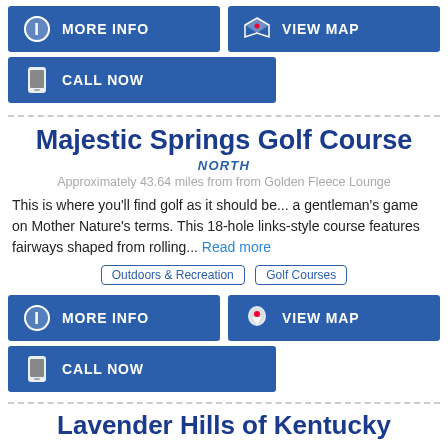[Figure (infographic): Top button bar with MORE INFO (info icon) and VIEW MAP (map icon) buttons side by side, and CALL NOW (phone icon) button below on the left.]
Majestic Springs Golf Course
NORTH
Approximately 43.64 miles from from Golden Fleece Lounge
This is where you'll find golf as it should be... a gentleman's game on Mother Nature's terms. This 18-hole links-style course features fairways shaped from rolling... Read more
Outdoors & Recreation   Golf Courses
[Figure (infographic): Bottom button bar with MORE INFO (info icon) and VIEW MAP (map icon) buttons side by side, and CALL NOW (phone icon) button below on the left.]
Lavender Hills of Kentucky